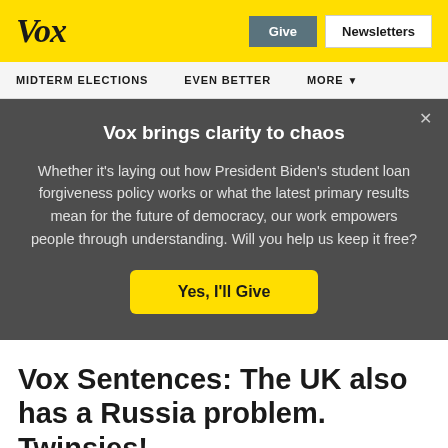Vox
MIDTERM ELECTIONS   EVEN BETTER   MORE
Vox brings clarity to chaos
Whether it’s laying out how President Biden’s student loan forgiveness policy works or what the latest primary results mean for the future of democracy, our work empowers people through understanding. Will you help us keep it free?
Yes, I’ll Give
Vox Sentences: The UK also has a Russia problem. Twinsies!